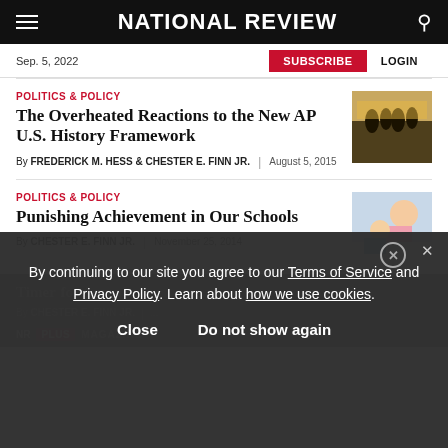NATIONAL REVIEW
Sep. 5, 2022
SUBSCRIBE  LOGIN
POLITICS & POLICY
The Overheated Reactions to the New AP U.S. History Framework
By FREDERICK M. HESS & CHESTER E. FINN JR.  |  August 5, 2015
[Figure (photo): Silhouette of people standing in front of illuminated display]
POLITICS & POLICY
Punishing Achievement in Our Schools
By CHESTER E. FINN JR.  |  November 25, 2014
[Figure (photo): Young girl smiling in classroom]
Time for Acoo...
By CHESTER E. FINN JR.  |  ...
NR  PLUS  MAGAZINE
By continuing to our site you agree to our Terms of Service and Privacy Policy. Learn about how we use cookies.
Close   Do not show again